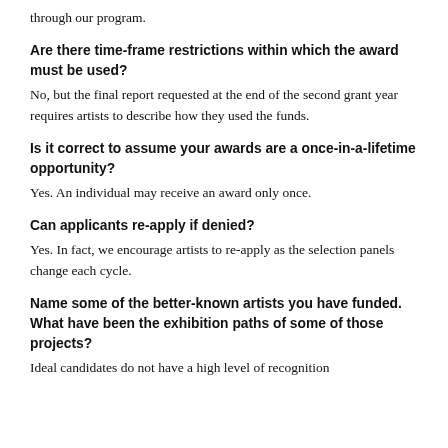through our program.
Are there time-frame restrictions within which the award must be used?
No, but the final report requested at the end of the second grant year requires artists to describe how they used the funds.
Is it correct to assume your awards are a once-in-a-lifetime opportunity?
Yes. An individual may receive an award only once.
Can applicants re-apply if denied?
Yes. In fact, we encourage artists to re-apply as the selection panels change each cycle.
Name some of the better-known artists you have funded. What have been the exhibition paths of some of those projects?
Ideal candidates do not have a high level of recognition